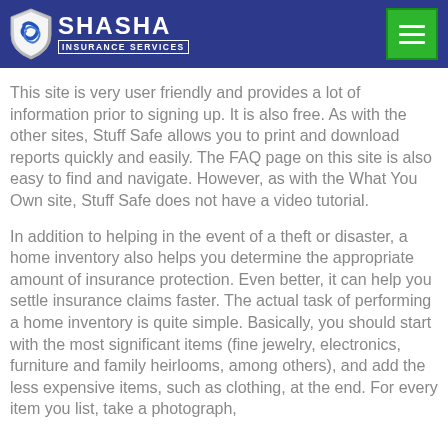SHASHA INSURANCE SERVICES
This site is very user friendly and provides a lot of information prior to signing up. It is also free. As with the other sites, Stuff Safe allows you to print and download reports quickly and easily. The FAQ page on this site is also easy to find and navigate. However, as with the What You Own site, Stuff Safe does not have a video tutorial.
In addition to helping in the event of a theft or disaster, a home inventory also helps you determine the appropriate amount of insurance protection. Even better, it can help you settle insurance claims faster. The actual task of performing a home inventory is quite simple. Basically, you should start with the most significant items (fine jewelry, electronics, furniture and family heirlooms, among others), and add the less expensive items, such as clothing, at the end. For every item you list, take a photograph,